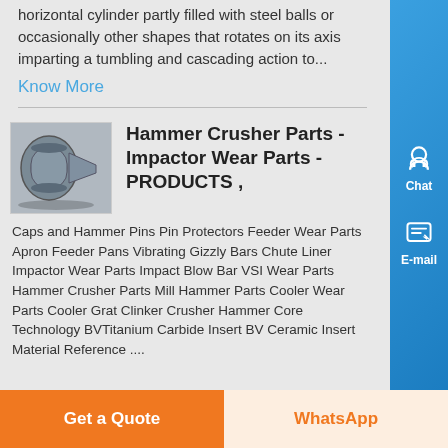horizontal cylinder partly filled with steel balls or occasionally other shapes that rotates on its axis imparting a tumbling and cascading action to...
Know More
Hammer Crusher Parts - Impactor Wear Parts - PRODUCTS ,
[Figure (photo): Industrial hammer crusher / ball mill machine photo]
Caps and Hammer Pins Pin Protectors Feeder Wear Parts Apron Feeder Pans Vibrating Gizzly Bars Chute Liner Impactor Wear Parts Impact Blow Bar VSI Wear Parts Hammer Crusher Parts Mill Hammer Parts Cooler Wear Parts Cooler Grat Clinker Crusher Hammer Core Technology BVTitanium Carbide Insert BV Ceramic Insert Material Reference ....
Get a Quote
WhatsApp